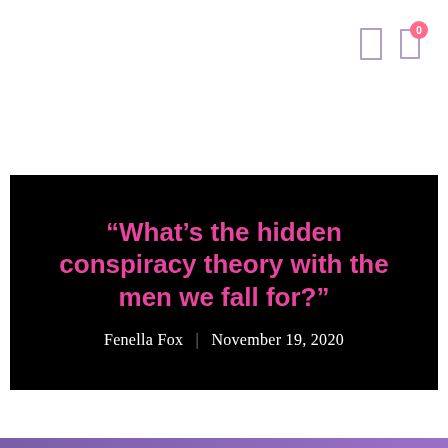[Figure (screenshot): Website UI element showing bookmark icon and share icon with badge showing '0' in pink circle]
“What’s the hidden conspiracy theory with the men we fall for?”
Fenella Fox | November 19, 2020